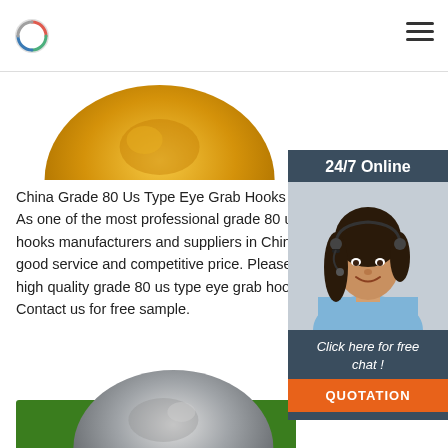[Figure (photo): Golden/yellow colored grab hook product, partial top view showing rounded top portion]
China Grade 80 Us Type Eye Grab Hooks Suppliers As one of the most professional grade 80 us type hooks manufacturers and suppliers in China, we good service and competitive price. Please rest a high quality grade 80 us type eye grab hooks fro Contact us for free sample.
[Figure (photo): Customer service representative widget showing a woman with headset, labeled '24/7 Online' with a 'Click here for free chat!' prompt and orange QUOTATION button]
[Figure (other): Green 'Get Price' button]
[Figure (other): Gray circular scroll-to-top arrow button]
[Figure (photo): Silver/gray metallic grab hook product, partial bottom view showing rounded top portion]